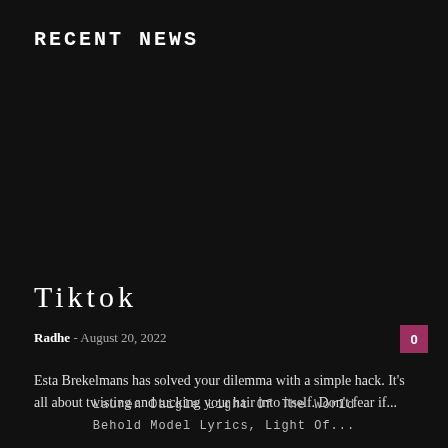RECENT NEWS
Tiktok
Radhe - August 20, 2022
Esta Brekelmans has solved your dilemma with a simple hack. It's all about twisting and tucking your hair into itself. Don't fear if...
Lauren Daigle Light Of The World Behold Model Lyrics, Light Of...